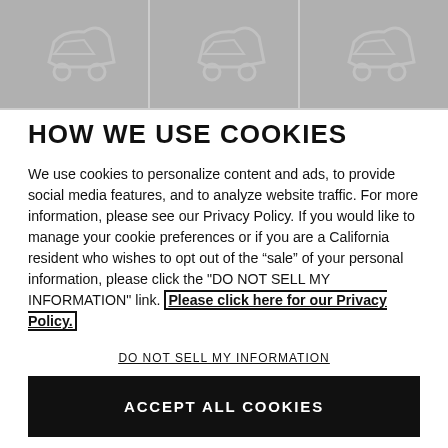[Figure (illustration): Three gray panels at the top, each showing a partial outline/silhouette of a car door or car body icon in a lighter gray on a medium gray background, separated by vertical dividers.]
HOW WE USE COOKIES
We use cookies to personalize content and ads, to provide social media features, and to analyze website traffic. For more information, please see our Privacy Policy. If you would like to manage your cookie preferences or if you are a California resident who wishes to opt out of the "sale" of your personal information, please click the "DO NOT SELL MY INFORMATION" link. Please click here for our Privacy Policy.
DO NOT SELL MY INFORMATION
ACCEPT ALL COOKIES